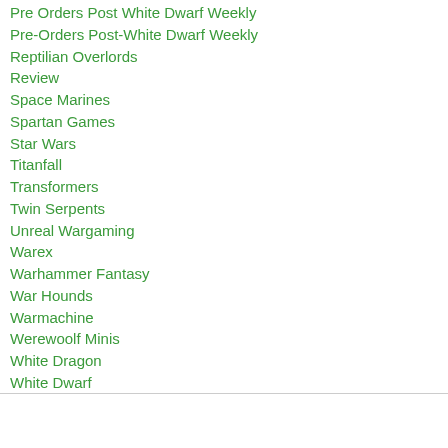Pre Orders Post White Dwarf Weekly
Pre-Orders Post-White Dwarf Weekly
Reptilian Overlords
Review
Space Marines
Spartan Games
Star Wars
Titanfall
Transformers
Twin Serpents
Unreal Wargaming
Warex
Warhammer Fantasy
War Hounds
Warmachine
Werewoolf Minis
White Dragon
White Dwarf